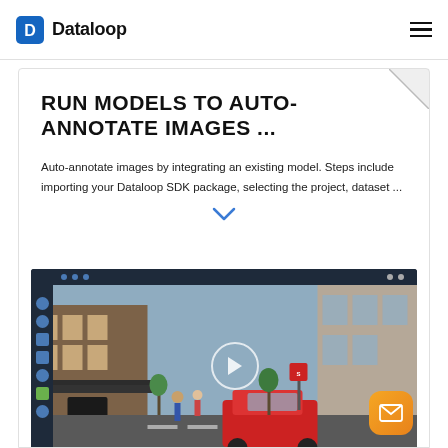Dataloop
RUN MODELS TO AUTO-ANNOTATE IMAGES ...
Auto-annotate images by integrating an existing model. Steps include importing your Dataloop SDK package, selecting the project, dataset ...
[Figure (screenshot): Screenshot of Dataloop annotation tool interface showing a street scene with a red car and people, with a play button overlay indicating a video tutorial]